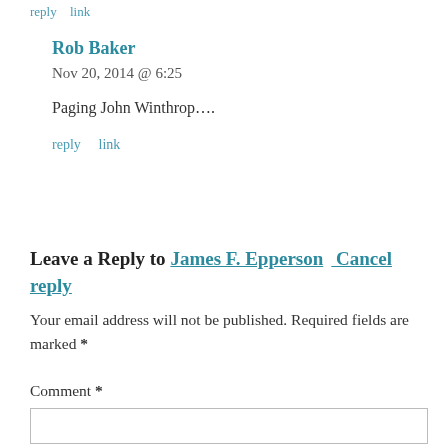reply   link
Rob Baker
Nov 20, 2014 @ 6:25
Paging John Winthrop….
reply   link
Leave a Reply to James F. Epperson   Cancel reply
Your email address will not be published. Required fields are marked *
Comment *